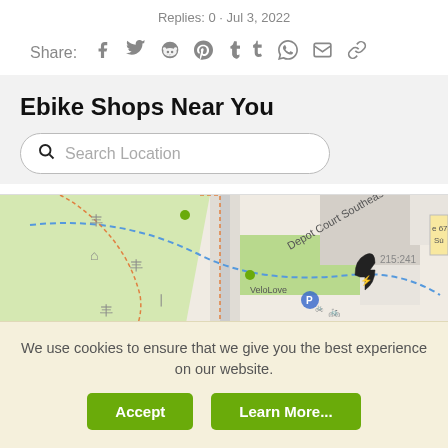Replies: 0 · Jul 3, 2022
Share: [social icons: Facebook, Twitter, Reddit, Pinterest, Tumblr, WhatsApp, Email, Link]
Ebike Shops Near You
Search Location
[Figure (map): Street map showing Depot Court Southeast, VeloLove, Low-Poly Open Heart, Transition, and a map pin with lightning bolt icon. Blue dashed boundary line visible. Address 215:241 shown. Route 675 visible on right edge.]
We use cookies to ensure that we give you the best experience on our website.
Accept
Learn More...